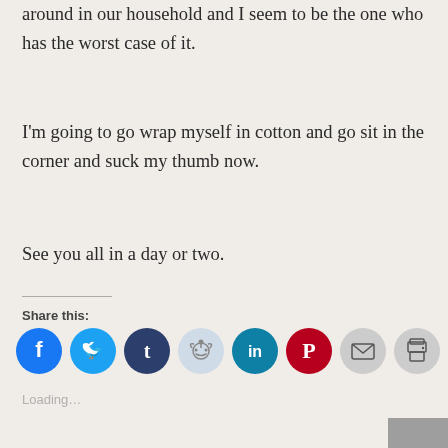around in our household and I seem to be the one who has the worst case of it.
I'm going to go wrap myself in cotton and go sit in the corner and suck my thumb now.
See you all in a day or two.
Share this:
[Figure (other): Social share buttons: Facebook (blue), Twitter (light blue), Tumblr (dark navy), Reddit (light blue/grey), LinkedIn (teal), Pinterest (red/crimson), Email (grey), Print (grey)]
Loading...